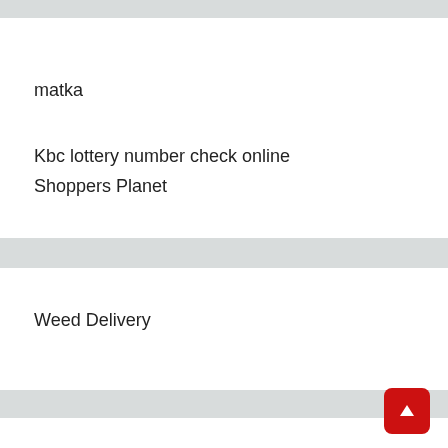matka
Kbc lottery number check online
Shoppers Planet
Weed Delivery